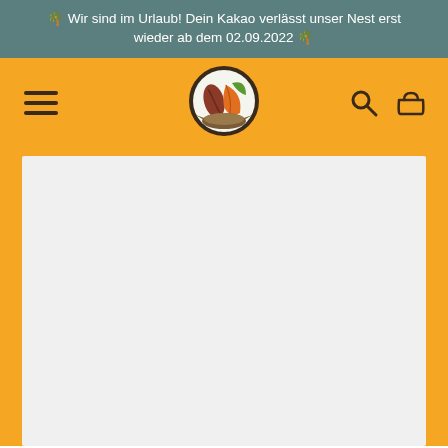🌴 Wir sind im Urlaub! Dein Kakao verlässt unser Nest erst wieder ab dem 02.09.2022 🌴
[Figure (logo): Navigation bar with hamburger menu icon on left, circular cocoa/cacao logo in center, search and basket icons on right, on yellow/amber background]
[Figure (other): Large empty light gray content area below navigation, framed by yellow/amber background]